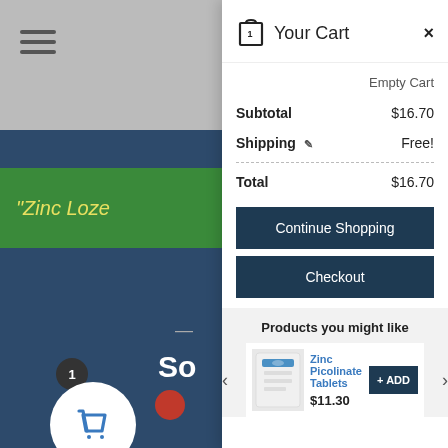[Figure (screenshot): Shopping cart panel overlay on an e-commerce website. Left side shows website background with hamburger menu, green banner with Zinc Loze text, dark blue background with So text. Right side shows cart drawer with header 'Your Cart', Empty Cart link, Subtotal $16.70, Shipping Free!, Total $16.70, Continue Shopping button, Checkout button, and Products you might like section with Zinc Picolinate Tablets at $11.30 with +ADD button.]